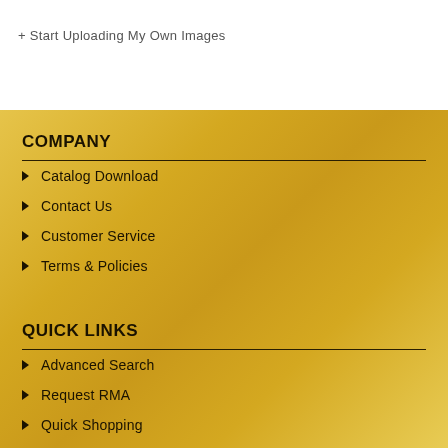+ Start Uploading My Own Images
COMPANY
Catalog Download
Contact Us
Customer Service
Terms & Policies
QUICK LINKS
Advanced Search
Request RMA
Quick Shopping
Site Map